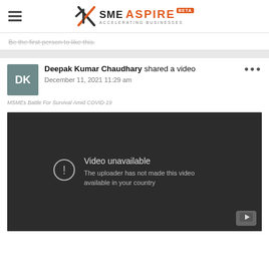SME ASPIRE BETA — ACCELERATING BUSINESSES
Be the first person to like this.
Deepak Kumar Chaudhary shared a video
December 11, 2021 11:29 am
MSMEs Battle For Survival Amid COVID-19
[Figure (screenshot): Embedded YouTube video player showing error: 'Video unavailable — The uploader has not made this video available in your country']